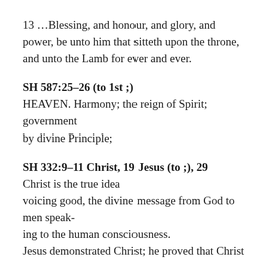13 …Blessing, and honour, and glory, and power, be unto him that sitteth upon the throne, and unto the Lamb for ever and ever.
SH 587:25–26 (to 1st ;)
HEAVEN. Harmony; the reign of Spirit; government
by divine Principle;
SH 332:9–11 Christ, 19 Jesus (to ;), 29
Christ is the true idea
voicing good, the divine message from God to men speak-
ing to the human consciousness.
Jesus demonstrated Christ; he proved that Christ